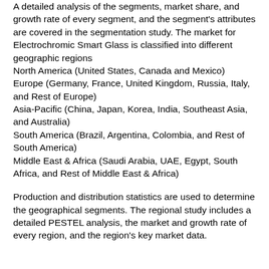A detailed analysis of the segments, market share, and growth rate of every segment, and the segment's attributes are covered in the segmentation study. The market for Electrochromic Smart Glass is classified into different geographic regions
North America (United States, Canada and Mexico)
Europe (Germany, France, United Kingdom, Russia, Italy, and Rest of Europe)
Asia-Pacific (China, Japan, Korea, India, Southeast Asia, and Australia)
South America (Brazil, Argentina, Colombia, and Rest of South America)
Middle East & Africa (Saudi Arabia, UAE, Egypt, South Africa, and Rest of Middle East & Africa)
Production and distribution statistics are used to determine the geographical segments. The regional study includes a detailed PESTEL analysis, the market and growth rate of every region, and the region's key market data.